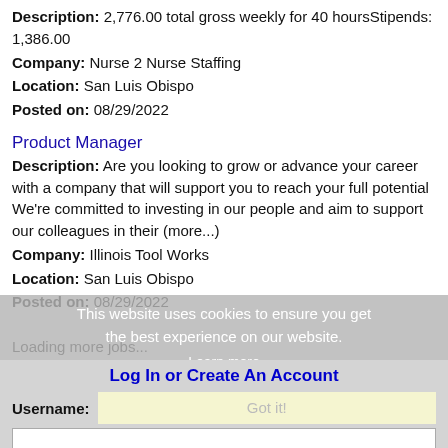Description: 2,776.00 total gross weekly for 40 hoursStipends: 1,386.00
Company: Nurse 2 Nurse Staffing
Location: San Luis Obispo
Posted on: 08/29/2022
Product Manager
Description: Are you looking to grow or advance your career with a company that will support you to reach your full potential We're committed to investing in our people and aim to support our colleagues in their (more...)
Company: Illinois Tool Works
Location: San Luis Obispo
Posted on: 08/29/2022
Loading more jobs...
This website uses cookies to ensure you get the best experience on our website.
Learn more
Log In or Create An Account
Username:
Got it!